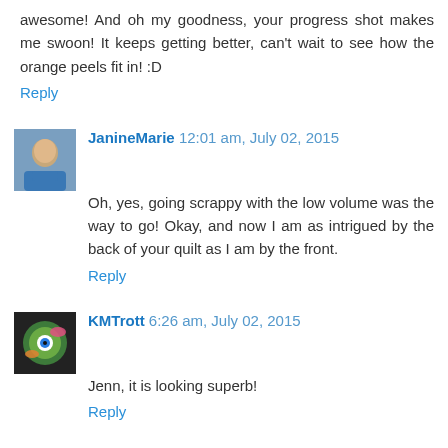awesome! And oh my goodness, your progress shot makes me swoon! It keeps getting better, can't wait to see how the orange peels fit in! :D
Reply
JanineMarie 12:01 am, July 02, 2015
Oh, yes, going scrappy with the low volume was the way to go! Okay, and now I am as intrigued by the back of your quilt as I am by the front.
Reply
KMTrott 6:26 am, July 02, 2015
Jenn, it is looking superb!
Reply
Laurel's Stitches 5:48 pm, July 02, 2015
Looks amazing, Jenn!